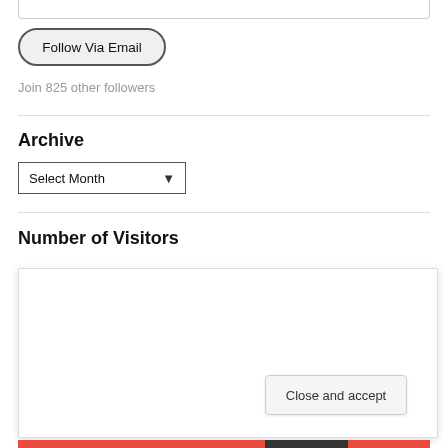Email Address
Follow Via Email
Join 825 other followers
Archive
Select Month
Number of Visitors
Privacy & Cookies: This site uses cookies. By continuing to use this website, you agree to their use.
To find out more, including how to control cookies, see here: Cookie Policy
Close and accept